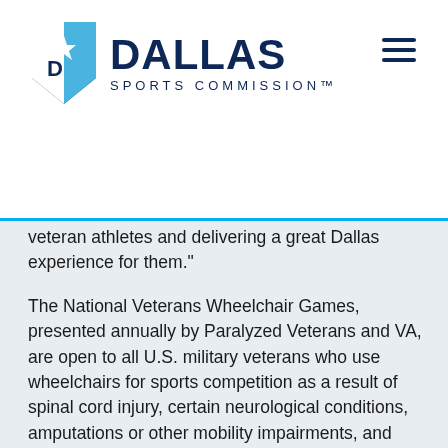[Figure (logo): Dallas Sports Commission logo with shield emblem and wordmark]
veteran athletes and delivering a great Dallas experience for them."
The National Veterans Wheelchair Games, presented annually by Paralyzed Veterans and VA, are open to all U.S. military veterans who use wheelchairs for sports competition as a result of spinal cord injury, certain neurological conditions, amputations or other mobility impairments, and who receive care at VA medical facilities or military treatment centers.
"The National Veterans Wheelchair Games represents a significant commitment to the rehabilitation of our nation's veterans and empowering them to live more healthy and active lives through sports and recreation. The partnership